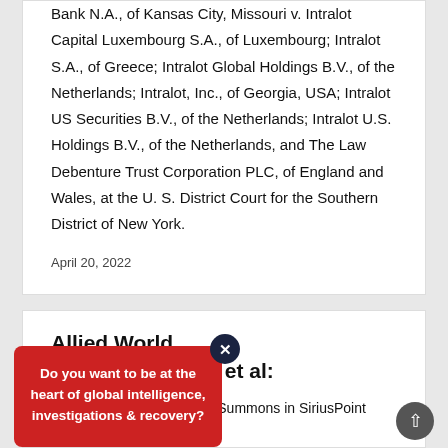Bank N.A., of Kansas City, Missouri v. Intralot Capital Luxembourg S.A., of Luxembourg; Intralot S.A., of Greece; Intralot Global Holdings B.V., of the Netherlands; Intralot, Inc., of Georgia, USA; Intralot US Securities B.V., of the Netherlands; Intralot U.S. Holdings B.V., of the Netherlands, and The Law Debenture Trust Corporation PLC, of England and Wales, at the U. S. District Court for the Southern District of New York.
April 20, 2022
Allied World ny (Europe) DAC et al:
Generally Indorsed Writ of Summons in SiriusPoint
[Figure (other): Red popup overlay with text: Do you want to be at the heart of global intelligence, investigations & recovery? With a dark circular close button (X) overlaid on top-right.]